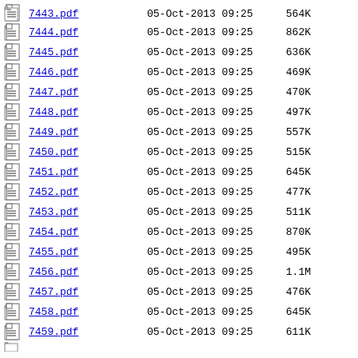7443.pdf  05-Oct-2013 09:25  564K
7444.pdf  05-Oct-2013 09:25  862K
7445.pdf  05-Oct-2013 09:25  636K
7446.pdf  05-Oct-2013 09:25  469K
7447.pdf  05-Oct-2013 09:25  470K
7448.pdf  05-Oct-2013 09:25  497K
7449.pdf  05-Oct-2013 09:25  557K
7450.pdf  05-Oct-2013 09:25  515K
7451.pdf  05-Oct-2013 09:25  645K
7452.pdf  05-Oct-2013 09:25  477K
7453.pdf  05-Oct-2013 09:25  511K
7454.pdf  05-Oct-2013 09:25  870K
7455.pdf  05-Oct-2013 09:25  495K
7456.pdf  05-Oct-2013 09:25  1.1M
7457.pdf  05-Oct-2013 09:25  476K
7458.pdf  05-Oct-2013 09:25  645K
7459.pdf  05-Oct-2013 09:25  611K